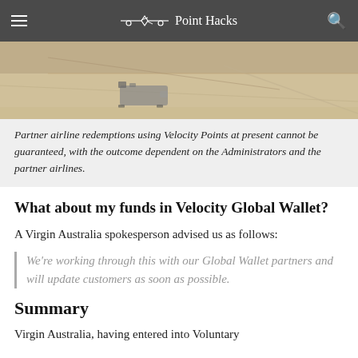Point Hacks
[Figure (photo): Aerial or ground-level view of an airport tarmac with a service vehicle visible, sandy/beige tones.]
Partner airline redemptions using Velocity Points at present cannot be guaranteed, with the outcome dependent on the Administrators and the partner airlines.
What about my funds in Velocity Global Wallet?
A Virgin Australia spokesperson advised us as follows:
We're working through this with our Global Wallet partners and will update customers as soon as possible.
Summary
Virgin Australia, having entered into Voluntary